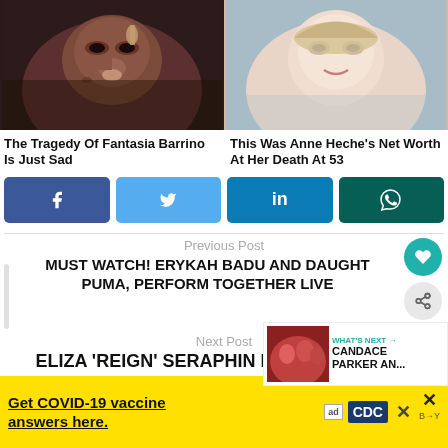[Figure (photo): Close-up photo of Fantasia Barrino's face, dark background]
[Figure (photo): Close-up photo of Anne Heche's face, smiling, light background]
The Tragedy Of Fantasia Barrino Is Just Sad
This Was Anne Heche's Net Worth At Her Death At 53
[Figure (infographic): Social media share buttons: Facebook, Twitter, LinkedIn, WhatsApp]
Previous Post
MUST WATCH! ERYKAH BADU AND DAUGHT PUMA, PERFORM TOGETHER LIVE
[Figure (photo): Thumbnail photo for WHAT'S NEXT - CANDACE PARKER AN...]
Next Post
ELIZA 'REIGN' SERAPHIN DENIES CALLING
Get COVID-19 vaccine answers here.